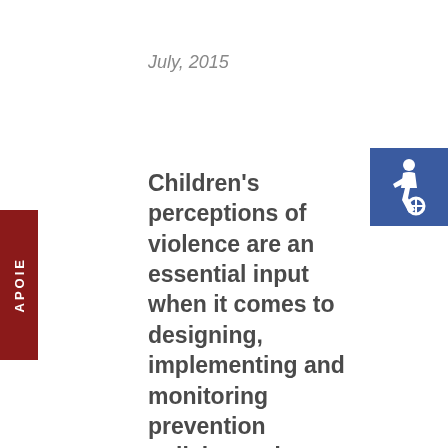July, 2015
[Figure (illustration): International Symbol of Access (wheelchair accessibility icon) on a blue square background, positioned in the top right corner.]
Children's perceptions of violence are an essential input when it comes to designing, implementing and monitoring prevention policies and programmes. However, their views and experiences are rarely collected systematically, especially in low-income settings. Now, there's an easier way of filling this knowledge gap.
APOIE